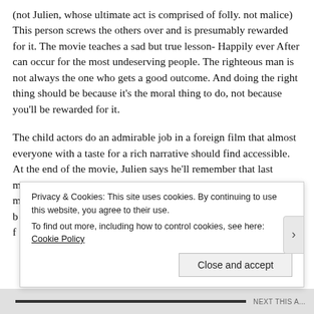(not Julien, whose ultimate act is comprised of folly. not malice) This person screws the others over and is presumably rewarded for it. The movie teaches a sad but true lesson- Happily ever After can occur for the most undeserving people. The righteous man is not always the one who gets a good outcome. And doing the right thing should be because it's the moral thing to do, not because you'll be rewarded for it.
The child actors do an admirable job in a foreign film that almost everyone with a taste for a rich narrative should find accessible. At the end of the movie, Julien says he'll remember that last morning in January til the day he dies. You should remember this movie as such;  not because it is traumatic, but
Privacy & Cookies: This site uses cookies. By continuing to use this website, you agree to their use.
To find out more, including how to control cookies, see here: Cookie Policy
Close and accept
NEXT THIS A...